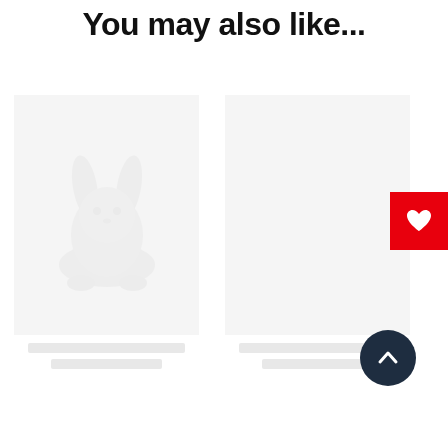You may also like...
[Figure (illustration): Product card placeholder on the left with a faint watermark/logo image of a rabbit or animal figure in white/light gray on a white background, with blurred text lines below]
[Figure (illustration): Product card placeholder on the right, mostly white/blank, with blurred text lines below]
[Figure (other): Red wishlist/heart button in the top-right corner]
[Figure (other): Dark navy circular scroll-to-top button with a chevron/arrow icon, bottom-right area]